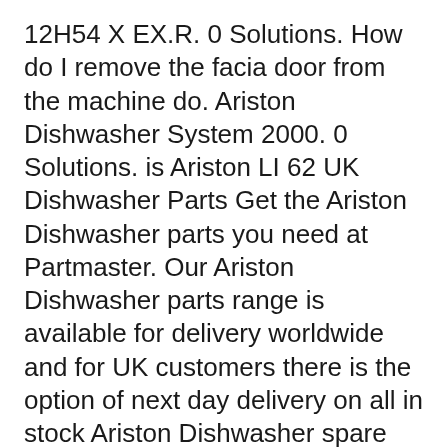12H54 X EX.R. 0 Solutions. How do I remove the facia door from the machine do. Ariston Dishwasher System 2000. 0 Solutions. is Ariston LI 62 UK Dishwasher Parts Get the Ariston Dishwasher parts you need at Partmaster. Our Ariston Dishwasher parts range is available for delivery worldwide and for UK customers there is the option of next day delivery on all in stock Ariston Dishwasher spare parts.
Ariston L 63 W NA - 30766 Manuals & User Guides. User Manuals, Guides and Specifications for your Ariston L 63 W NA - 30766 Dishwasher. Database contains 1 Ariston L 63 W NA - 30766 Manuals (available for free online